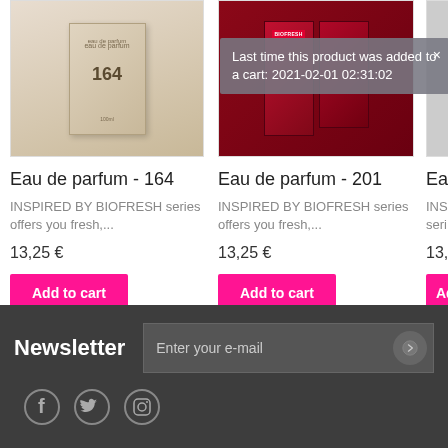[Figure (screenshot): Product image of Eau de parfum 164 box, beige/tan colored packaging on table background]
[Figure (screenshot): Product image of Eau de parfum 201, dark red packaging with BIOFRESH logo]
[Figure (screenshot): Third product partially visible, cut off at right edge]
Last time this product was added to a cart: 2021-02-01 02:31:02
Eau de parfum - 164
INSPIRED BY BIOFRESH series offers you fresh,...
13,25 €
Add to cart
Eau de parfum - 201
INSPIRED BY BIOFRESH series offers you fresh,...
13,25 €
Add to cart
Eau
INS
seri
13,2
Ad
Newsletter
Enter your e-mail
[Figure (infographic): Social media icons: Facebook, Twitter, Instagram]